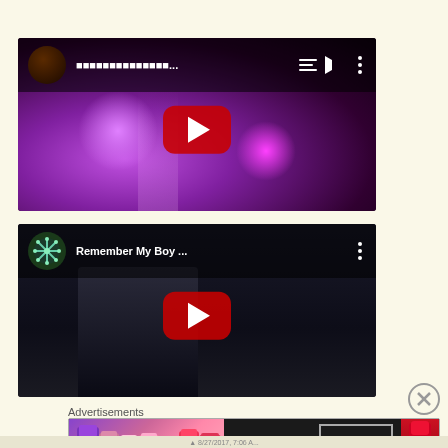[Figure (screenshot): YouTube video thumbnail showing a concert/dance performance with purple and pink stage lighting, with a YouTube play button overlay and video title bar at top]
[Figure (screenshot): YouTube video thumbnail titled 'Remember My Boy ...' showing a dark scene with a performer, YouTube play button overlay, and a snowflake channel avatar]
Advertisements
[Figure (photo): MAC Cosmetics advertisement banner showing colorful lipsticks on left, MAC logo in center, and SHOP NOW button with red lipstick on right]